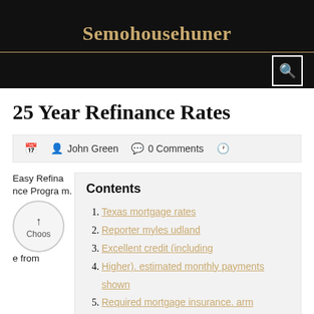Semohousehuner
25 Year Refinance Rates
John Green  0 Comments
Contents
1. Texas mortgage rates
2. Reporter myles udland
3. Excellent credit (including
4. Higher). estimated monthly payments shown
5. Required mortgage insurance. arm
6. Mortgage insurance. arm
Easy Refinance Program. Choose from